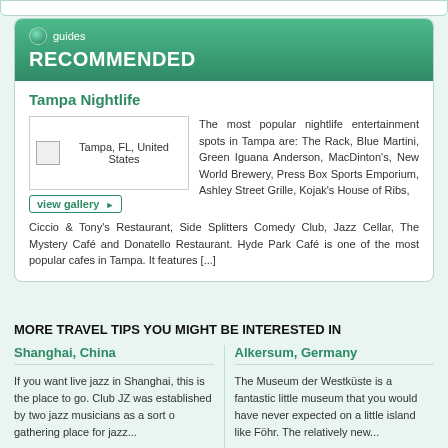guides
RECOMMENDED
Tampa Nightlife
[Figure (photo): Tampa, FL, United States flag/thumbnail placeholder with view gallery link]
The most popular nightlife entertainment spots in Tampa are: The Rack, Blue Martini, Green Iguana Anderson, MacDinton's, New World Brewery, Press Box Sports Emporium, Ashley Street Grille, Kojak's House of Ribs, Ciccio & Tony's Restaurant, Side Splitters Comedy Club, Jazz Cellar, The Mystery Café and Donatello Restaurant. Hyde Park Café is one of the most popular cafes in Tampa. It features [...]
MORE TRAVEL TIPS YOU MIGHT BE INTERESTED IN
Shanghai, China
Alkersum, Germany
If you want live jazz in Shanghai, this is the place to go. Club JZ was established by two jazz musicians as a sort o gathering place for jazz...
The Museum der Westküste is a fantastic little museum that you would have never expected on a little island like Föhr. The relatively new...
Night Life & Entertainment: Club JZ
History & Culture: Museum der Westüste